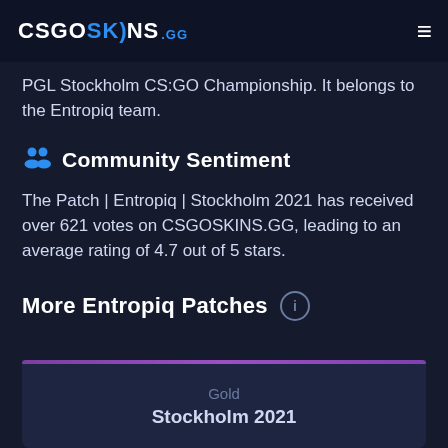CSGOSKINS .GG
PGL Stockholm CS:GO Championship. It belongs to the Entropiq team.
Community Sentiment
The Patch | Entropiq | Stockholm 2021 has received over 621 votes on CSGOSKINS.GG, leading to an average rating of 4.7 out of 5 stars.
More Entropiq Patches
Gold
Stockholm 2021